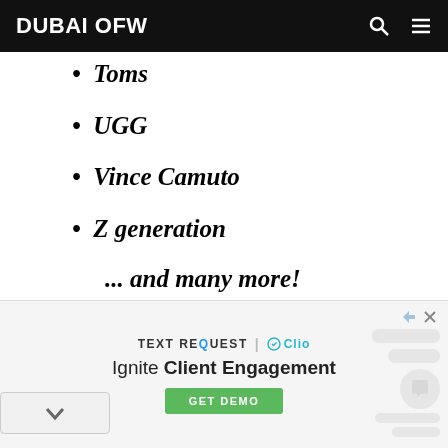DUBAI OFW
Toms
UGG
Vince Camuto
Z generation
... and many more!
Once again, the Eid Shopping Fiesta runs from August 15 to 19, 2018 at aikh Maktoum Hall, DWTC. The hall
[Figure (screenshot): Advertisement banner for TEXT REQUEST with Clio integration. Text reads: 'TEXT REQUEST | Clio — Ignite Client Engagement' with a green GET DEMO button. Background shows a chat interface mockup.]